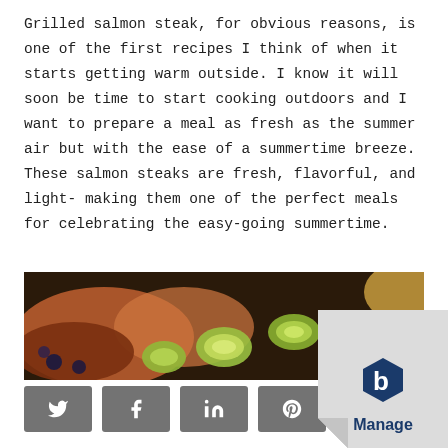Grilled salmon steak, for obvious reasons, is one of the first recipes I think of when it starts getting warm outside. I know it will soon be time to start cooking outdoors and I want to prepare a meal as fresh as the summer air but with the ease of a summertime breeze. These salmon steaks are fresh, flavorful, and light- making them one of the perfect meals for celebrating the easy-going summertime.
[Figure (photo): Close-up photo of grilled salmon steak with sliced spring onions/leeks and other colorful ingredients on a dark surface]